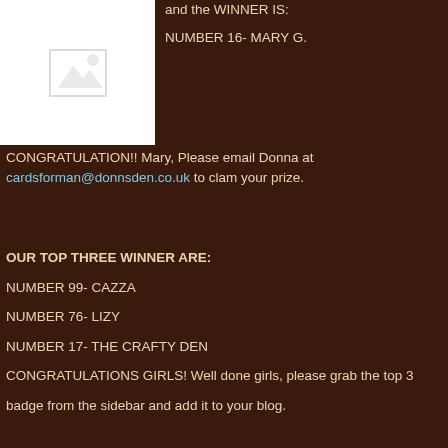[Figure (illustration): Image placeholder with mountain/photo icon]
and the WINNER IS:

NUMBER 16- MARY G.
CONGRATULATION!! Mary, Please email Donna at cardsforman@donnsden.co.uk to clam your prize.
OUR TOP THREE WINNER ARE:
NUMBER 99- CAZZA
NUMBER 76- LIZY
NUMBER 17- THE CRAFTY DEN
CONGRATULATIONS GIRLS! Well done girls, please grab the top 3
badge from the sidebar and add it to your blog.